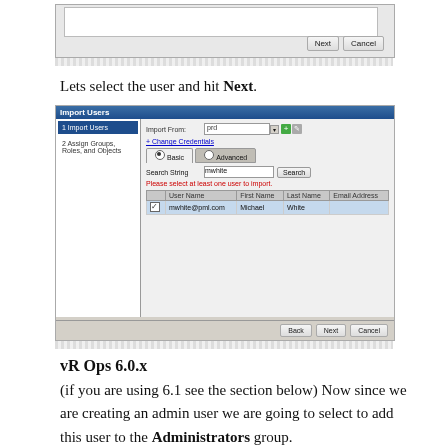[Figure (screenshot): Partial screenshot of an import dialog showing Next and Cancel buttons at the bottom]
Lets select the user and hit Next.
[Figure (screenshot): Screenshot of Import Users dialog with sidebar showing '1 Import Users' and '2 Assign Groups, Roles, and Objects'. Main panel shows Import From field set to 'prd', Basic/Advanced tabs, Search String 'mwhite', Search button, a user list table with mwhite@pml.com selected (Michael, White). Next and Cancel buttons at bottom.]
vR Ops 6.0.x
(if you are using 6.1 see the section below) Now since we are creating an admin user we are going to select to add this user to the Administrators group.